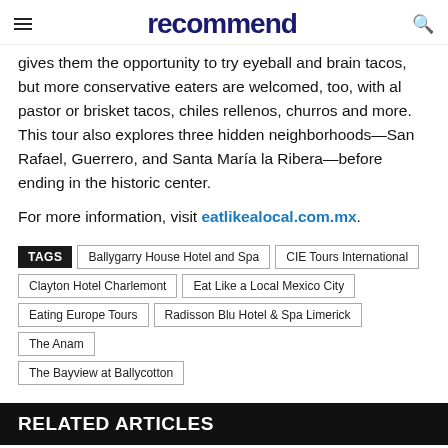recommend
gives them the opportunity to try eyeball and brain tacos, but more conservative eaters are welcomed, too, with al pastor or brisket tacos, chiles rellenos, churros and more. This tour also explores three hidden neighborhoods—San Rafael, Guerrero, and Santa María la Ribera—before ending in the historic center.
For more information, visit eatlikealocal.com.mx.
TAGS  Ballygarry House Hotel and Spa  CIE Tours International  Clayton Hotel Charlemont  Eat Like a Local Mexico City  Eating Europe Tours  Radisson Blu Hotel & Spa Limerick  The Anam  The Bayview at Ballycotton
RELATED ARTICLES
MORE FROM AUTHOR